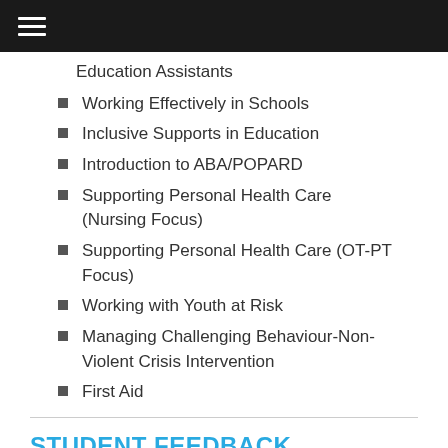Education Assistants
Working Effectively in Schools
Inclusive Supports in Education
Introduction to ABA/POPARD
Supporting Personal Health Care (Nursing Focus)
Supporting Personal Health Care (OT-PT Focus)
Working with Youth at Risk
Managing Challenging Behaviour-Non-Violent Crisis Intervention
First Aid
STUDENT FEEDBACK